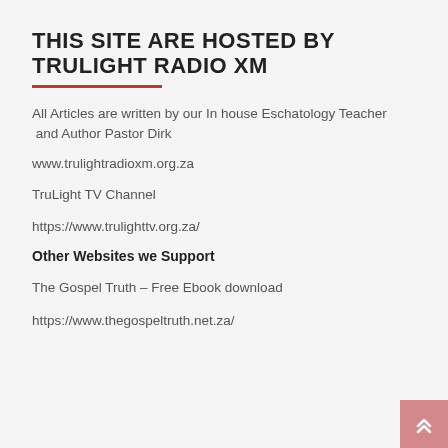THIS SITE ARE HOSTED BY TRULIGHT RADIO XM
All Articles are written by our In house Eschatology Teacher  and Author Pastor Dirk
www.trulightradioxm.org.za
TruLight TV Channel
https://www.trulighttv.org.za/
Other Websites we Support
The Gospel Truth – Free Ebook download
https://www.thegospeltruth.net.za/